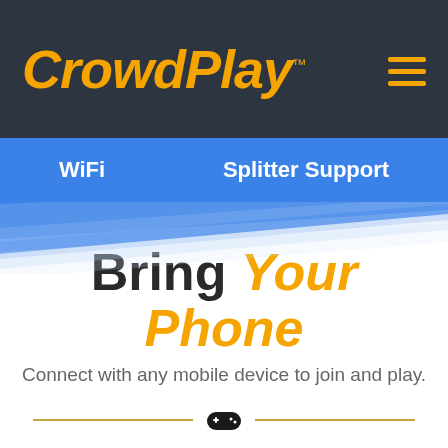[Figure (logo): CrowdPlay logo in orange italic bold text on dark background]
WiFi   Splitter Support
Bring Your Phone
Connect with any mobile device to join and play.